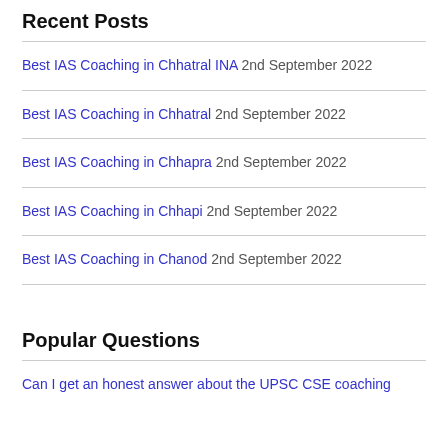Recent Posts
Best IAS Coaching in Chhatral INA 2nd September 2022
Best IAS Coaching in Chhatral 2nd September 2022
Best IAS Coaching in Chhapra 2nd September 2022
Best IAS Coaching in Chhapi 2nd September 2022
Best IAS Coaching in Chanod 2nd September 2022
Popular Questions
Can I get an honest answer about the UPSC CSE coaching